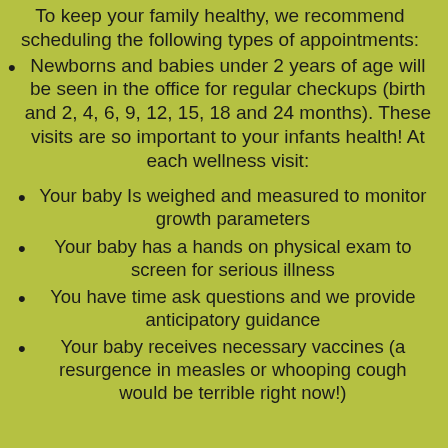To keep your family healthy, we recommend scheduling the following types of appointments:
Newborns and babies under 2 years of age will be seen in the office for regular checkups (birth and 2, 4, 6, 9, 12, 15, 18 and 24 months). These visits are so important to your infants health! At each wellness visit:
Your baby Is weighed and measured to monitor growth parameters
Your baby has a hands on physical exam to screen for serious illness
You have time ask questions and we provide anticipatory guidance
Your baby receives necessary vaccines (a resurgence in measles or whooping cough would be terrible right now!)